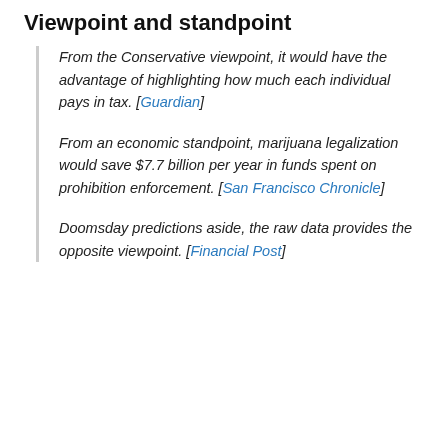Viewpoint and standpoint
From the Conservative viewpoint, it would have the advantage of highlighting how much each individual pays in tax. [Guardian]
From an economic standpoint, marijuana legalization would save $7.7 billion per year in funds spent on prohibition enforcement. [San Francisco Chronicle]
Doomsday predictions aside, the raw data provides the opposite viewpoint. [Financial Post]